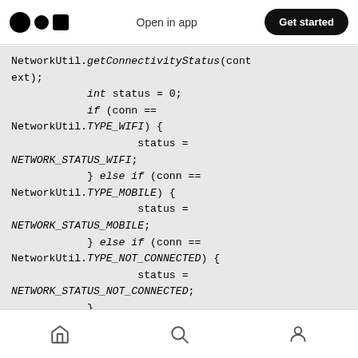Open in app | Get started
NetworkUtil.getConnectivityStatus(context);
            int status = 0;
            if (conn == NetworkUtil.TYPE_WIFI) {
                    status = NETWORK_STATUS_WIFI;
            } else if (conn == NetworkUtil.TYPE_MOBILE) {
                    status = NETWORK_STATUS_MOBILE;
            } else if (conn == NetworkUtil.TYPE_NOT_CONNECTED) {
                    status = NETWORK_STATUS_NOT_CONNECTED;
            }
            return status;
    }
Home | Search | Profile